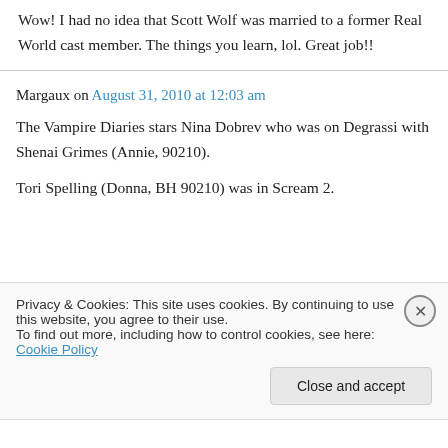Wow! I had no idea that Scott Wolf was married to a former Real World cast member. The things you learn, lol. Great job!!
Margaux on August 31, 2010 at 12:03 am
The Vampire Diaries stars Nina Dobrev who was on Degrassi with Shenai Grimes (Annie, 90210).
Tori Spelling (Donna, BH 90210) was in Scream 2.
Privacy & Cookies: This site uses cookies. By continuing to use this website, you agree to their use.
To find out more, including how to control cookies, see here: Cookie Policy